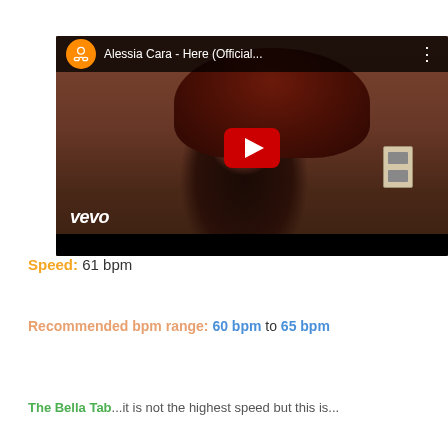[Figure (screenshot): YouTube video thumbnail for 'Alessia Cara - Here (Official...)' showing a young woman with curly red hair, YouTube play button overlay, vevo logo, and YouTube header bar with channel avatar]
Speed: 61 bpm
Recommended bpm range: 60 bpm to 65 bpm
The Bella Tab...